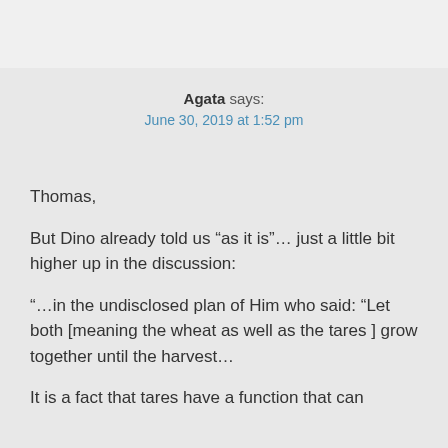Agata says:
June 30, 2019 at 1:52 pm
Thomas,
But Dino already told us “as it is”… just a little bit higher up in the discussion:
“…in the undisclosed plan of Him who said: “Let both [meaning the wheat as well as the tares ] grow together until the harvest…
It is a fact that tares have a function that can